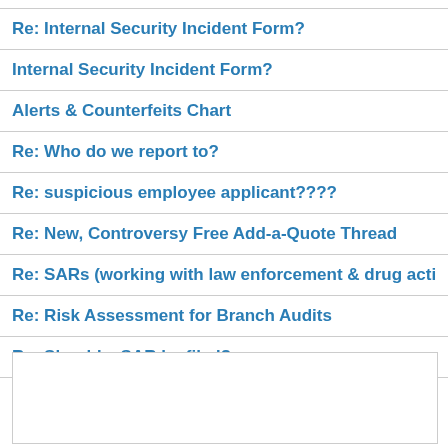Re: Internal Security Incident Form?
Internal Security Incident Form?
Alerts & Counterfeits Chart
Re: Who do we report to?
Re: suspicious employee applicant????
Re: New, Controversy Free Add-a-Quote Thread
Re: SARs (working with law enforcement & drug activit…
Re: Risk Assessment for Branch Audits
Re: Should a SAR be filed?